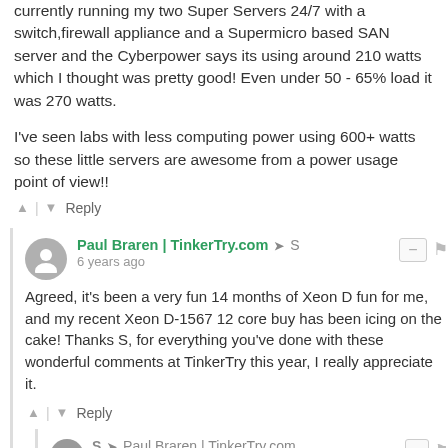currently running my two Super Servers 24/7 with a switch,firewall appliance and a Supermicro based SAN server and the Cyberpower says its using around 210 watts which I thought was pretty good! Even under 50 - 65% load it was 270 watts.
I've seen labs with less computing power using 600+ watts so these little servers are awesome from a power usage point of view!!
↑ | ↓  Reply
Paul Braren | TinkerTry.com ➤ S
6 years ago
Agreed, it's been a very fun 14 months of Xeon D fun for me, and my recent Xeon D-1567 12 core buy has been icing on the cake! Thanks S, for everything you've done with these wonderful comments at TinkerTry this year, I really appreciate it.
↑ | ↓  Reply
S ➤ Paul Braren | TinkerTry.com
6 years ago
I should say thank you for all the effort and time you